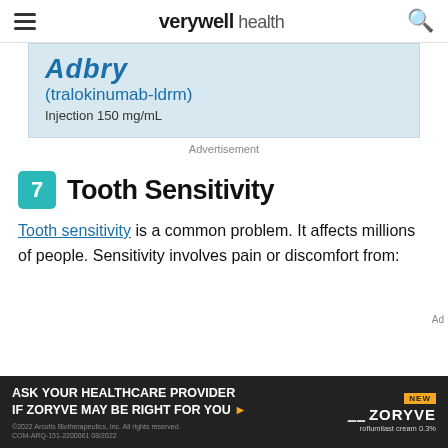verywell health
[Figure (screenshot): Advertisement banner for Adbry (tralokinumab-ldrm) Injection 150 mg/mL, light blue background]
Advertisement
7  Tooth Sensitivity
Tooth sensitivity is a common problem. It affects millions of people. Sensitivity involves pain or discomfort from:
[Figure (screenshot): Advertisement bar: ASK YOUR HEALTHCARE PROVIDER IF ZORYVE MAY BE RIGHT FOR YOU with Zoryve logo and product information]